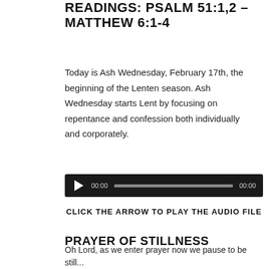READINGS: PSALM 51:1,2 – MATTHEW 6:1-4
Today is Ash Wednesday, February 17th, the beginning of the Lenten season. Ash Wednesday starts Lent by focusing on repentance and confession both individually and corporately.
[Figure (other): Audio player bar with play button, time display 00:00, progress track, and end time 00:00]
CLICK THE ARROW TO PLAY THE AUDIO FILE
PRAYER OF STILLNESS
Oh Lord, as we enter prayer now we pause to be still...